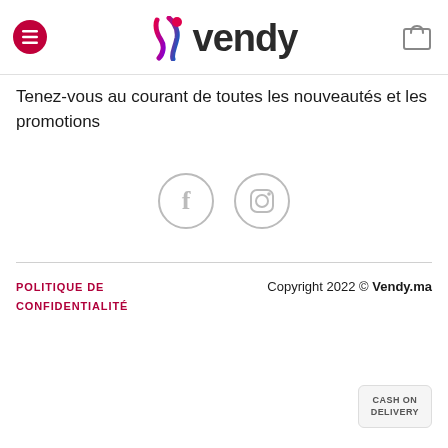[Figure (logo): Vendy logo with pink/purple swoosh icon and bold 'vendy' text, hamburger menu button on left, shopping bag icon on right]
Tenez-vous au courant de toutes les nouveautés et les promotions
[Figure (other): Two circular social media icons: Facebook (f) and Instagram (camera), both in light gray outline style]
POLITIQUE DE CONFIDENTIALITÉ   Copyright 2022 © Vendy.ma
[Figure (other): CASH ON DELIVERY badge in bottom right corner]